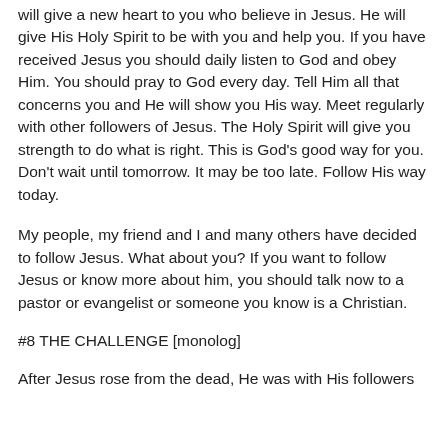will give a new heart to you who believe in Jesus. He will give His Holy Spirit to be with you and help you. If you have received Jesus you should daily listen to God and obey Him. You should pray to God every day. Tell Him all that concerns you and He will show you His way. Meet regularly with other followers of Jesus. The Holy Spirit will give you strength to do what is right. This is God's good way for you. Don't wait until tomorrow. It may be too late. Follow His way today.
My people, my friend and I and many others have decided to follow Jesus. What about you? If you want to follow Jesus or know more about him, you should talk now to a pastor or evangelist or someone you know is a Christian.
#8 THE CHALLENGE [monolog]
After Jesus rose from the dead, He was with His followers